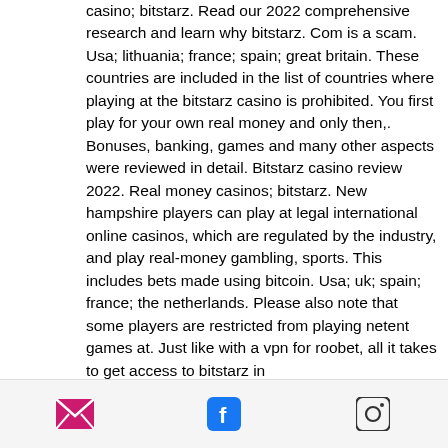casino; bitstarz. Read our 2022 comprehensive research and learn why bitstarz. Com is a scam. Usa; lithuania; france; spain; great britain. These countries are included in the list of countries where playing at the bitstarz casino is prohibited. You first play for your own real money and only then,. Bonuses, banking, games and many other aspects were reviewed in detail. Bitstarz casino review 2022. Real money casinos; bitstarz. New hampshire players can play at legal international online casinos, which are regulated by the industry, and play real-money gambling, sports. This includes bets made using bitcoin. Usa; uk; spain; france; the netherlands. Please also note that some players are restricted from playing netent games at. Just like with a vpn for roobet, all it takes to get access to bitstarz in
email | facebook | instagram